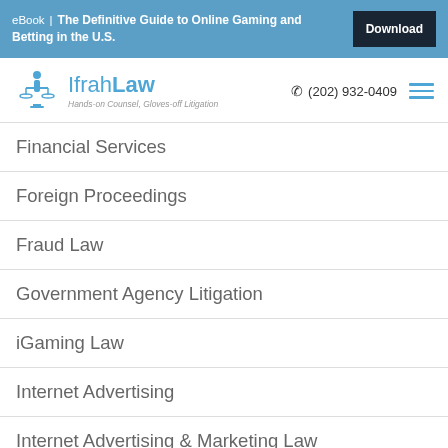eBook | The Definitive Guide to Online Gaming and Betting in the U.S. [Download]
[Figure (logo): IfrahLaw logo with scales of justice icon and tagline 'Hands-on Counsel, Gloves-off Litigation']
Financial Services
Foreign Proceedings
Fraud Law
Government Agency Litigation
iGaming Law
Internet Advertising
Internet Advertising & Marketing Law
Internet Law
Mobile and Technology Marketing